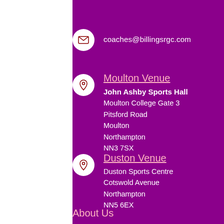coaches@billingsrgc.com
Moulton Venue
John Ashby Sports Hall
Moulton College Gate 3
Pitsford Road
Moulton
Northampton
NN3 7SX
Duston Venue
Duston Sports Centre
Cotswold Avenue
Northampton
NN5 6EX
About Us